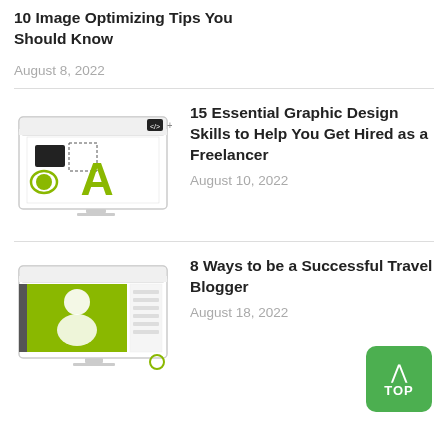10 Image Optimizing Tips You Should Know
August 8, 2022
[Figure (illustration): Graphic design tools illustration showing typography and design elements on a monitor screen with green accents]
15 Essential Graphic Design Skills to Help You Get Hired as a Freelancer
August 10, 2022
[Figure (illustration): Video or streaming illustration showing a person on screen with green background on a monitor]
8 Ways to be a Successful Travel Blogger
August 18, 2022